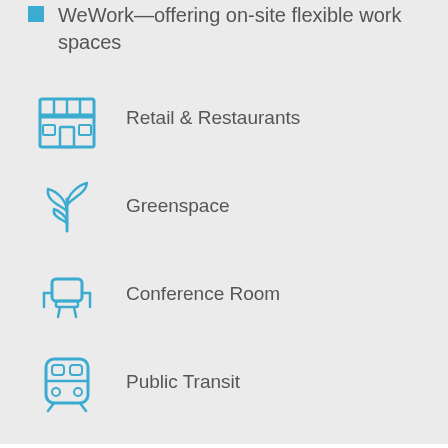WeWork—offering on-site flexible work spaces
Retail & Restaurants
Greenspace
Conference Room
Public Transit